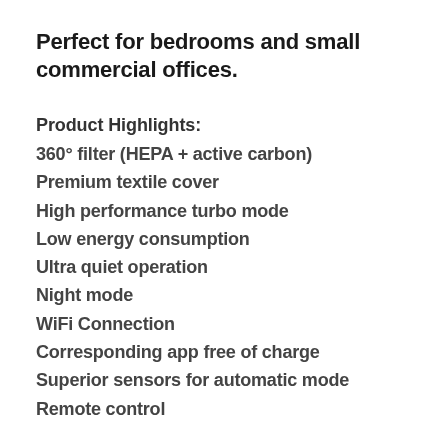Perfect for bedrooms and small commercial offices.
Product Highlights:
360° filter (HEPA + active carbon)
Premium textile cover
High performance turbo mode
Low energy consumption
Ultra quiet operation
Night mode
WiFi Connection
Corresponding app free of charge
Superior sensors for automatic mode
Remote control